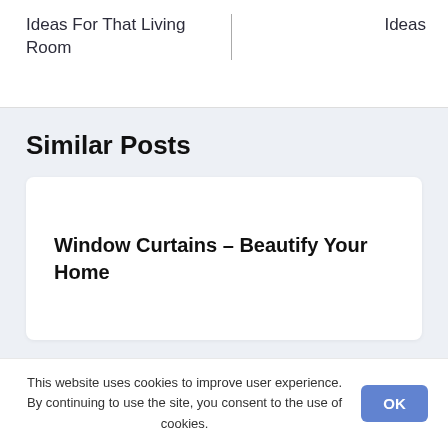Ideas For That Living Room
Ideas
Similar Posts
Window Curtains – Beautify Your Home
This website uses cookies to improve user experience. By continuing to use the site, you consent to the use of cookies.